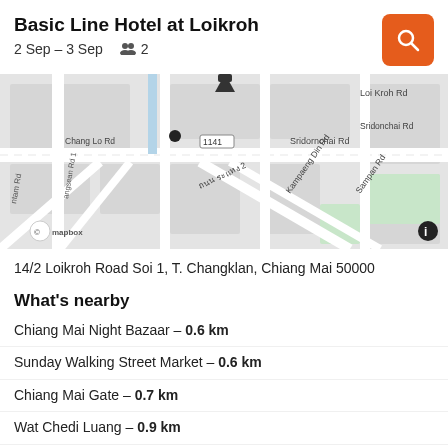Basic Line Hotel at Loikroh
2 Sep – 3 Sep   👥 2
[Figure (map): Mapbox street map showing the area around Basic Line Hotel at Loikroh, Chiang Mai, with roads including Chang Lo Rd, Sridornchai Rd, Sridonchai Rd, Loi Kroh Rd, Kampaeng Din Rd, Sampan Rd, and Thai text road labels.]
14/2 Loikroh Road Soi 1, T. Changklan, Chiang Mai 50000
What's nearby
Chiang Mai Night Bazaar – 0.6 km
Sunday Walking Street Market – 0.6 km
Chiang Mai Gate – 0.7 km
Wat Chedi Luang – 0.9 km
Chiang Mai City Arts & Cultural Center – 1.1 km